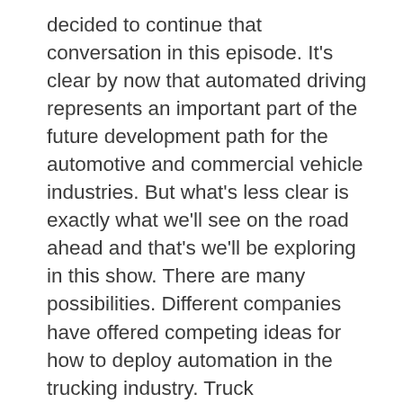decided to continue that conversation in this episode. It's clear by now that automated driving represents an important part of the future development path for the automotive and commercial vehicle industries. But what's less clear is exactly what we'll see on the road ahead and that's we'll be exploring in this show. There are many possibilities. Different companies have offered competing ideas for how to deploy automation in the trucking industry. Truck manufacturers industry suppliers and technology firms are all placing their bets on what the automated future will look like. The emergence of a legal and regulatory framework as well as public acceptance also will play a large part in determining how and when this technology will be adopted to help gain a clearer picture of what lies ahead on this road to...